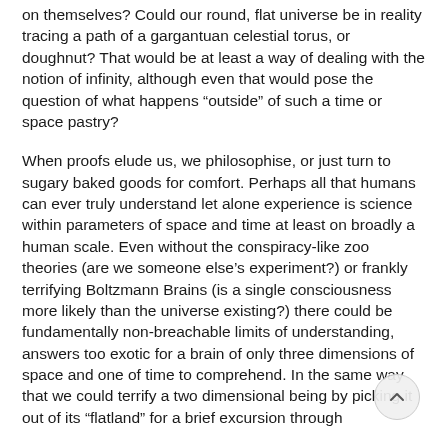on themselves? Could our round, flat universe be in reality tracing a path of a gargantuan celestial torus, or doughnut? That would be at least a way of dealing with the notion of infinity, although even that would pose the question of what happens “outside” of such a time or space pastry?
When proofs elude us, we philosophise, or just turn to sugary baked goods for comfort. Perhaps all that humans can ever truly understand let alone experience is science within parameters of space and time at least on broadly a human scale. Even without the conspiracy-like zoo theories (are we someone else’s experiment?) or frankly terrifying Boltzmann Brains (is a single consciousness more likely than the universe existing?) there could be fundamentally non-breachable limits of understanding, answers too exotic for a brain of only three dimensions of space and one of time to comprehend. In the same way that we could terrify a two dimensional being by picking it out of its “flatland” for a brief excursion through